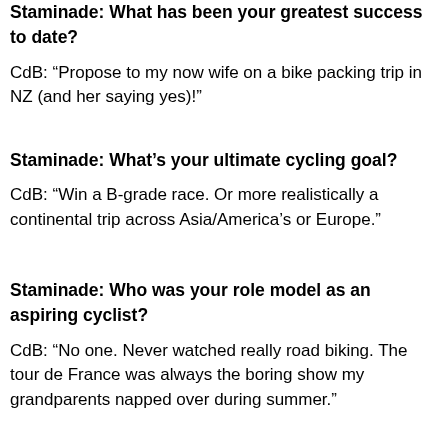Staminade: What has been your greatest success to date?
CdB: “Propose to my now wife on a bike packing trip in NZ (and her saying yes)!”
Staminade: What’s your ultimate cycling goal?
CdB: “Win a B-grade race. Or more realistically a continental trip across Asia/America’s or Europe.”
Staminade: Who was your role model as an aspiring cyclist?
CdB: “No one. Never watched really road biking. The tour de France was always the boring show my grandparents napped over during summer.”